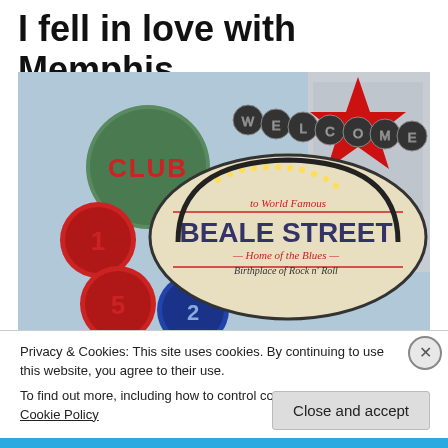I fell in love with Memphis
[Figure (photo): Photo of the Welcome to World Famous Beale Street sign in Memphis, Tennessee, showing neon signs including Club 152 and a large star, with the text 'to World Famous BEALE STREET Home of the Blues Birthplace of Rock n Roll']
Privacy & Cookies: This site uses cookies. By continuing to use this website, you agree to their use.
To find out more, including how to control cookies, see here: Cookie Policy
Close and accept